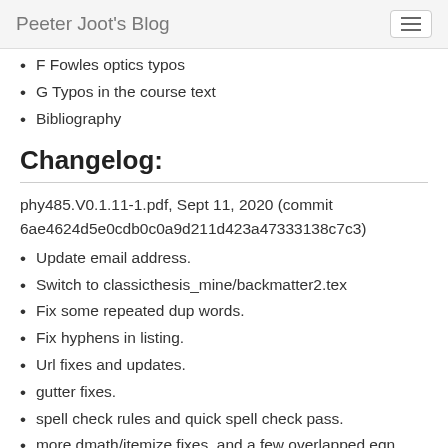Peeter Joot's Blog
F Fowles optics typos
G Typos in the course text
Bibliography
Changelog:
phy485.V0.1.11-1.pdf, Sept 11, 2020 (commit 6ae4624d5e0cdb0c0a9d211d423a47333138c7c3)
Update email address.
Switch to classicthesis_mine/backmatter2.tex
Fix some repeated dup words.
Fix hyphens in listing.
Url fixes and updates.
gutter fixes.
spell check rules and quick spell check pass.
more dmath/itemize fixes, and a few overlapped eqn number